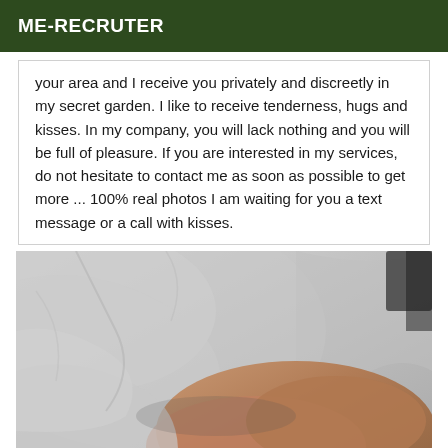ME-RECRUTER
your area and I receive you privately and discreetly in my secret garden. I like to receive tenderness, hugs and kisses. In my company, you will lack nothing and you will be full of pleasure. If you are interested in my services, do not hesitate to contact me as soon as possible to get more ... 100% real photos I am waiting for you a text message or a call with kisses.
[Figure (photo): A close-up photo showing draped light-colored fabric and a person's skin/body in warm brown tones against the fabric background.]